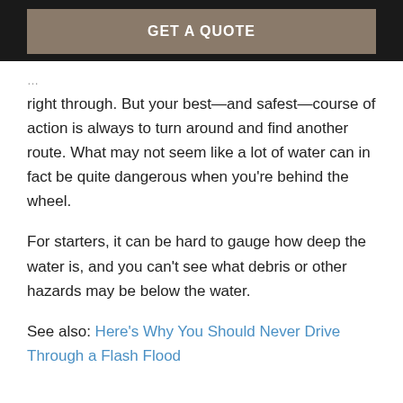GET A QUOTE
right through. But your best—and safest—course of action is always to turn around and find another route. What may not seem like a lot of water can in fact be quite dangerous when you're behind the wheel.
For starters, it can be hard to gauge how deep the water is, and you can't see what debris or other hazards may be below the water.
See also: Here's Why You Should Never Drive Through a Flash Flood